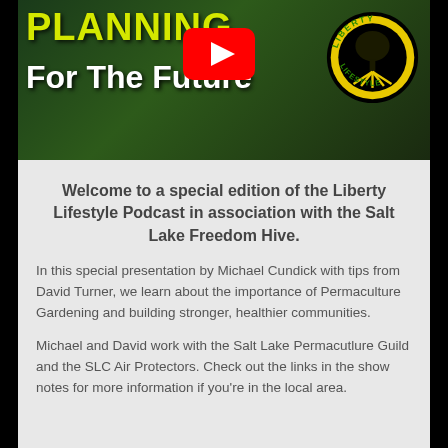[Figure (screenshot): YouTube video thumbnail for 'Planning For The Future' Liberty Lifestyle Podcast episode, showing text 'PLANNING For The Future' in yellow and white on a dark green background with gardening/outdoor scene, a red YouTube play button in the center, and the Liberty Lifestyle circular logo on the right.]
Welcome to a special edition of the Liberty Lifestyle Podcast in association with the Salt Lake Freedom Hive.
In this special presentation by Michael Cundick with tips from David Turner, we learn about the importance of Permaculture Gardening and building stronger, healthier communities.
Michael and David work with the Salt Lake Permacutlure Guild and the SLC Air Protectors. Check out the links in the show notes for more information if you're in the local area.